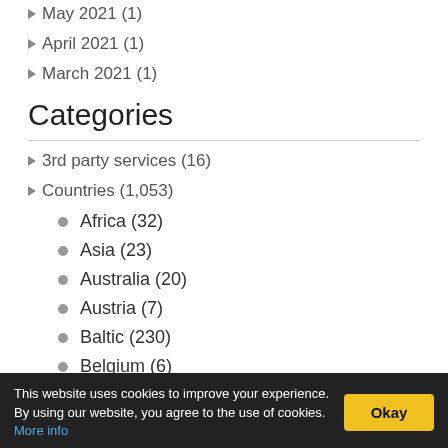May 2021 (1)
April 2021 (1)
March 2021 (1)
Categories
3rd party services (16)
Countries (1,053)
Africa (32)
Asia (23)
Australia (20)
Austria (7)
Baltic (230)
Belgium (6)
Bulgaria (4)
This website uses cookies to improve your experience. By using our website, you agree to the use of cookies. More info